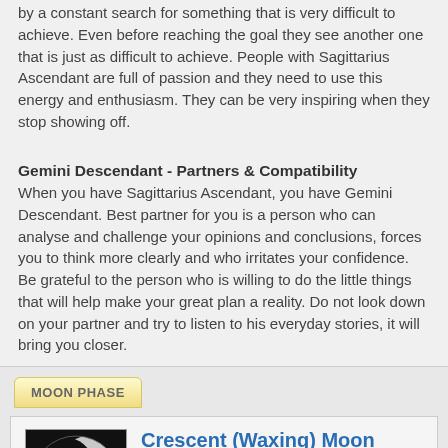by a constant search for something that is very difficult to achieve. Even before reaching the goal they see another one that is just as difficult to achieve. People with Sagittarius Ascendant are full of passion and they need to use this energy and enthusiasm. They can be very inspiring when they stop showing off.
Gemini Descendant - Partners & Compatibility
When you have Sagittarius Ascendant, you have Gemini Descendant. Best partner for you is a person who can analyse and challenge your opinions and conclusions, forces you to think more clearly and who irritates your confidence. Be grateful to the person who is willing to do the little things that will help make your great plan a reality. Do not look down on your partner and try to listen to his everyday stories, it will bring you closer.
MOON PHASE
[Figure (photo): Crescent waxing moon photo — dark image of the moon showing a crescent lit portion on the right side against black background]
Crescent (Waxing) Moon
85°23' (Soli-Lunar Degree)
Expansion, Growth, Struggle, Opportunity